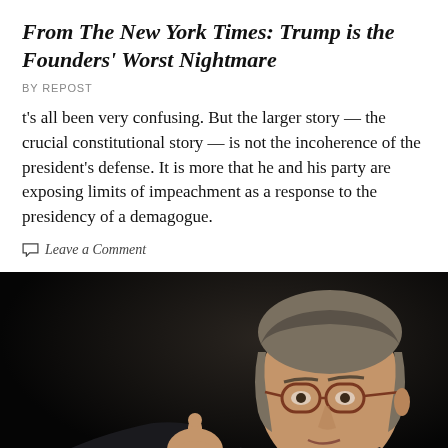From The New York Times: Trump is the Founders' Worst Nightmare
BY REPOST
t's all been very confusing. But the larger story — the crucial constitutional story — is not the incoherence of the president's defense. It is more that he and his party are exposing limits of impeachment as a response to the presidency of a demagogue.
Leave a Comment
[Figure (photo): A man with grey hair and round glasses with brownish-red frames gestures with his right hand, pointing a finger, set against a dark/black background. He is wearing a dark suit jacket.]